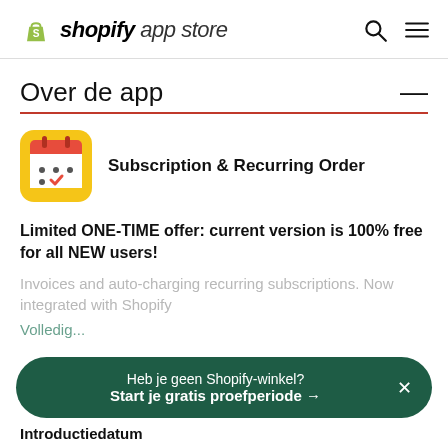shopify app store
Over de app
[Figure (logo): Calendar app icon with yellow background, red calendar header, dots and checkmark]
Subscription & Recurring Order
Limited ONE-TIME offer: current version is 100% free for all NEW users!
Invoices and auto-charging recurring subscriptions. Now integrated with Shopify
Heb je geen Shopify-winkel?
Start je gratis proefperiode →
Introductiedatum